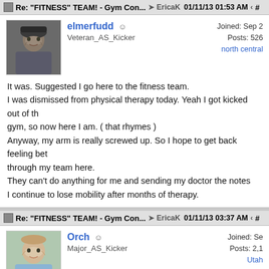Re: "FITNESS" TEAM! - Gym Con... EricaK 01/11/13 01:53 AM #
[Figure (photo): Avatar photo of elmerfudd, a man wearing a dark hat, dark background]
elmerfudd ☺
Veteran_AS_Kicker
Joined: Sep ...
Posts: 526
north central
It was. Suggested I go here to the fitness team.
I was dismissed from physical therapy today. Yeah I got kicked out of the gym, so now here I am. ( that rhymes )
Anyway, my arm is really screwed up. So I hope to get back feeling better through my team here.
They can't do anything for me and sending my doctor the notes
I continue to lose mobility after months of therapy.
Re: "FITNESS" TEAM! - Gym Con... EricaK 01/11/13 03:37 AM #
[Figure (photo): Avatar photo of Orch, a smiling man in a light blue shirt]
Orch ☺
Major_AS_Kicker
Joined: Se...
Posts: 2,1...
Utah
Ran 3 miles today in 33 minutes. I did walk across the bridge over the river because it was covered with ice.